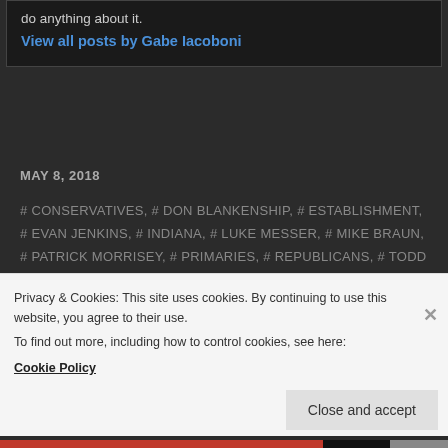do anything about it.
View all posts by Gabe Iacoboni
MAY 8, 2018
# CONSERVATIVES, # DON BLANKENSHIP, # ESTABLISHMENT, # EVAN JENKINS, # INDIANA, # LUKE MESSER, # MIKE BRAUN, # PATRICK MORRISEY, # PRIMARIES, # REPUBLICANS, # TODD ROKITA, # WEST VIRGINIA
SHARE THIS:
[Figure (infographic): Social share buttons: Twitter (blue circle), WhatsApp (green circle), Facebook (blue circle), Print (gray circle), Email (gray circle)]
Privacy & Cookies: This site uses cookies. By continuing to use this website, you agree to their use.
To find out more, including how to control cookies, see here: Cookie Policy
Close and accept